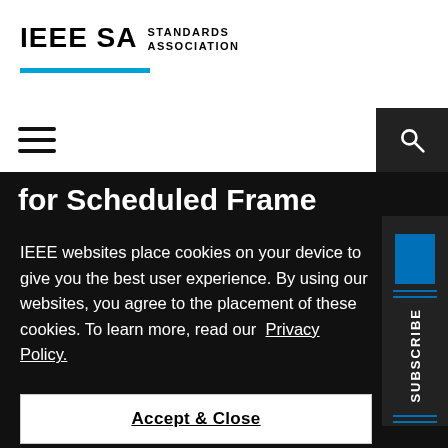[Figure (logo): IEEE SA Standards Association logo with blue underline bar]
[Figure (other): Navigation bar with hamburger menu icon on left and search icon (dark background) on right]
for Scheduled Frame
IEEE websites place cookies on your device to give you the best user experience. By using our websites, you agree to the placement of these cookies. To learn more, read our  Privacy Policy.
Accept & Close